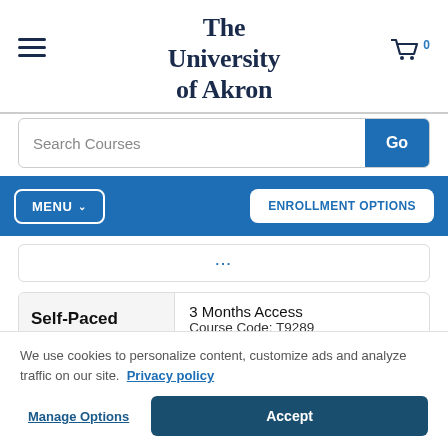[Figure (logo): The University of Akron logo with hamburger menu icon on left and shopping cart on right]
Search Courses
MENU ∨  ENROLLMENT OPTIONS
| Self-Paced | 3 Months Access
Course Code: T9289 | No Instructor, Start Anytime |
We use cookies to personalize content, customize ads and analyze traffic on our site. Privacy policy
Manage Options
Accept